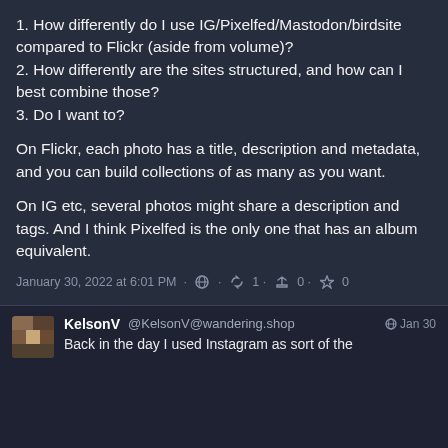1. How differently do I use IG/Pixelfed/Mastodon/birdsite compared to Flickr (aside from volume)?
2. How differently are the sites structured, and how can I best combine those?
3. Do I want to?
On Flickr, each photo has a title, description and metadata, and you can build collections of as many as you want.
On IG etc, several photos might share a description and tags. And I think Pixelfed is the only one that has an album equivalent.
January 30, 2022 at 6:01 PM · 🌐 · 🔁 1 · 🔃 0 · ⭐ 0
KelsonV @KelsonV@wandering.shop Jan 30
Back in the day I used Instagram as sort of the